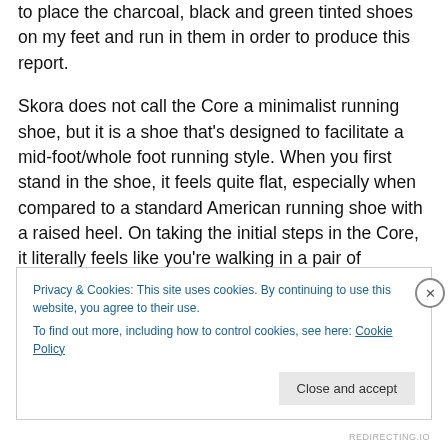to place the charcoal, black and green tinted shoes on my feet and run in them in order to produce this report.
Skora does not call the Core a minimalist running shoe, but it is a shoe that's designed to facilitate a mid-foot/whole foot running style. When you first stand in the shoe, it feels quite flat, especially when compared to a standard American running shoe with a raised heel. On taking the initial steps in the Core, it literally feels like you're walking in a pair of moccasin-style house slippers. This made me wonder, as an instinctive heel striker, whether the shoe would be able to provide enough
Privacy & Cookies: This site uses cookies. By continuing to use this website, you agree to their use.
To find out more, including how to control cookies, see here: Cookie Policy